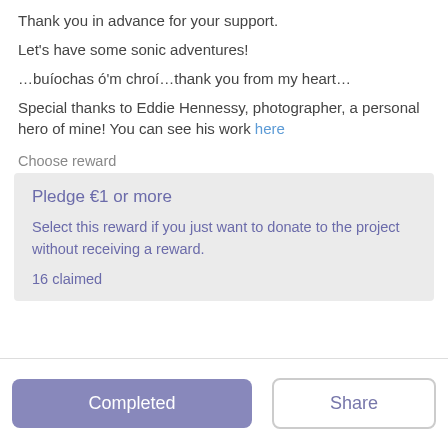Thank you in advance for your support.
Let's have some sonic adventures!
…buíochas ó'm chroí…thank you from my heart…
Special thanks to Eddie Hennessy, photographer, a personal hero of mine! You can see his work here
Choose reward
Pledge €1 or more
Select this reward if you just want to donate to the project without receiving a reward.
16 claimed
Completed
Share